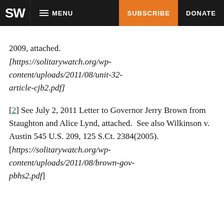SW | MENU | SUBSCRIBE | DONATE
...attached. [https://solitarywatch.org/wp-content/uploads/2011/08/unit-32-article-cjb2.pdf]
[2] See July 2, 2011 Letter to Governor Jerry Brown from Staughton and Alice Lynd, attached.  See also Wilkinson v. Austin 545 U.S. 209, 125 S.Ct. 2384(2005). [https://solitarywatch.org/wp-content/uploads/2011/08/brown-gov-pbhs2.pdf]